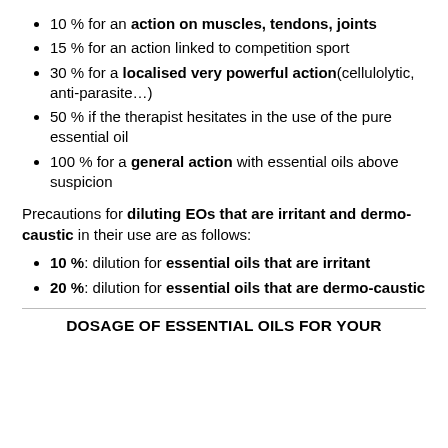10 % for an action on muscles, tendons, joints
15 % for an action linked to competition sport
30 % for a localised very powerful action(cellulolytic, anti-parasite…)
50 % if the therapist hesitates in the use of the pure essential oil
100 % for a general action with essential oils above suspicion
Precautions for diluting EOs that are irritant and dermo-caustic in their use are as follows:
10 %: dilution for essential oils that are irritant
20 %: dilution for essential oils that are dermo-caustic
DOSAGE OF ESSENTIAL OILS FOR YOUR